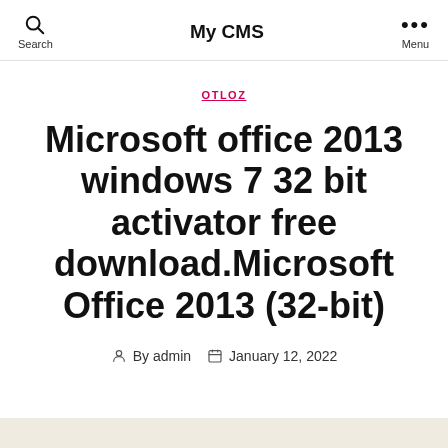My CMS
OTLOZ
Microsoft office 2013 windows 7 32 bit activator free download.Microsoft Office 2013 (32-bit)
By admin   January 12, 2022